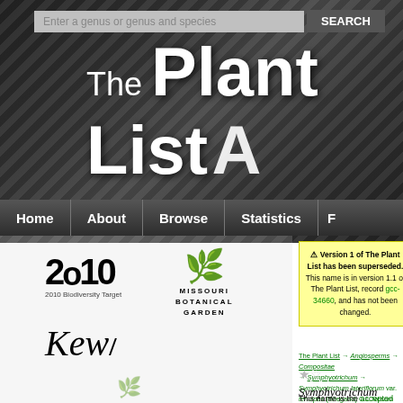[Figure (screenshot): The Plant List website screenshot showing header with search bar, navigation, logos, version warning box, breadcrumb navigation, and species name heading]
Enter a genus or genus and species  SEARCH
The Plant List
Home | About | Browse | Statistics | F
⚠ Version 1 of The Plant List has been superseded. This name is in version 1.1 of The Plant List, record gcc-34660, and has not been changed.
The Plant List → Angiosperms → Compositae → Symphyotrichum → Symphyotrichum lateriflorum var. tenuipes (Wiegand) G.L.Nesom
★☆ Symphyotrichum lateriflorum var. tenuipes (Wiegand) G.L.Nesom is an accepted name
This name is the accepted name of an